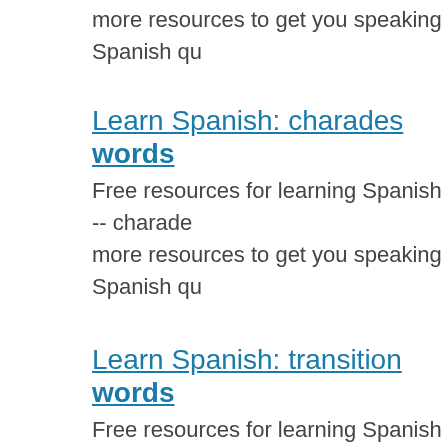more resources to get you speaking Spanish qu
Learn Spanish: charades words
Free resources for learning Spanish -- charade more resources to get you speaking Spanish qu
Learn Spanish: transition words
Free resources for learning Spanish -- transitio more resources to get you speaking Spanish qu
Learn Spanish: interrogative words
Free resources for learning Spanish -- interroga has more resources to get you speaking Spanis
Learn Spanish: words to say in